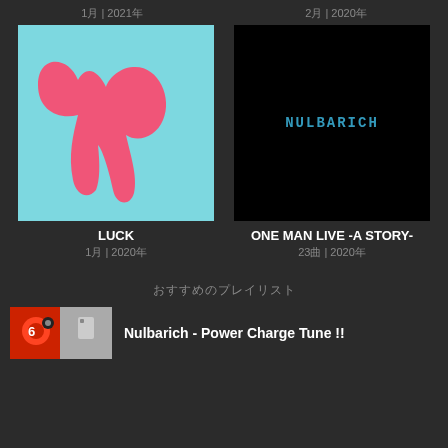1月 | 2021年
2月 | 2020年
[Figure (illustration): Album cover for LUCK - light blue background with pink dripping heart/tooth-like shape]
LUCK
1月 | 2020年
[Figure (illustration): Album cover for ONE MAN LIVE -A STORY- - black background with NULBARICH text in blue digital font]
ONE MAN LIVE -A STORY-
23曲 | 2020年
おすすめのプレイリスト
[Figure (illustration): Two small album thumbnail images side by side - red/orange and grey]
Nulbarich - Power Charge Tune !!